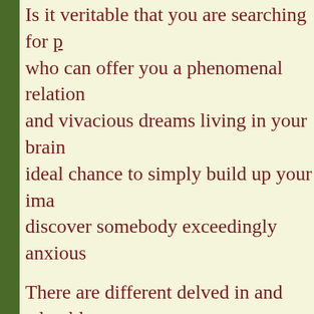Is it veritable that you are searching for [link] who can offer you a phenomenal relation and vivacious dreams living in your brain ideal chance to simply build up your ima discover somebody exceedingly anxious
There are different delved in and adorabl proof offering a wide collection of admir decision and besides they are so neighbo them. Get some answers concerning their that you can discover them positively in t
All the Model Female Escorts In Mumba perfect and sharp. They can pick either w this occupation to fill all of their world w excitement.